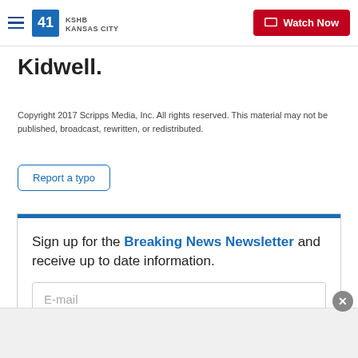41 KSHB KANSAS CITY | Watch Now
Kidwell.
Copyright 2017 Scripps Media, Inc. All rights reserved. This material may not be published, broadcast, rewritten, or redistributed.
Report a typo
Sign up for the Breaking News Newsletter and receive up to date information.
E-mail
Submit